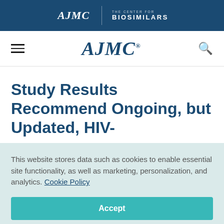AJMC | THE CENTER FOR BIOSIMILARS
[Figure (logo): AJMC navigation logo with hamburger menu and search icon]
Study Results Recommend Ongoing, but Updated, HIV-
This website stores data such as cookies to enable essential site functionality, as well as marketing, personalization, and analytics. Cookie Policy
Accept
Deny